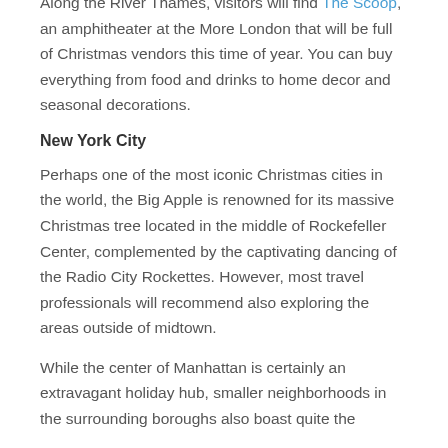Along the River Thames, visitors will find The Scoop, an amphitheater at the More London that will be full of Christmas vendors this time of year. You can buy everything from food and drinks to home decor and seasonal decorations.
New York City
Perhaps one of the most iconic Christmas cities in the world, the Big Apple is renowned for its massive Christmas tree located in the middle of Rockefeller Center, complemented by the captivating dancing of the Radio City Rockettes. However, most travel professionals will recommend also exploring the areas outside of midtown.
While the center of Manhattan is certainly an extravagant holiday hub, smaller neighborhoods in the surrounding boroughs also boast quite the